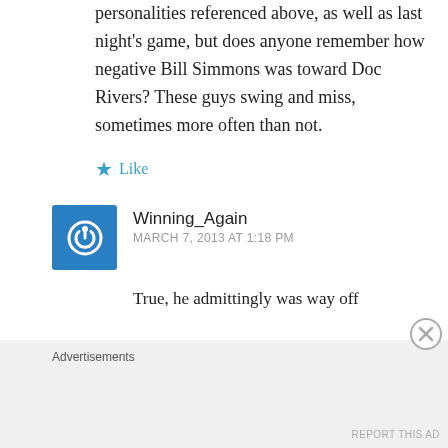personalities referenced above, as well as last night's game, but does anyone remember how negative Bill Simmons was toward Doc Rivers? These guys swing and miss, sometimes more often than not.
★ Like
Winning_Again
MARCH 7, 2013 AT 1:18 PM
True, he admittingly was way off
Advertisements